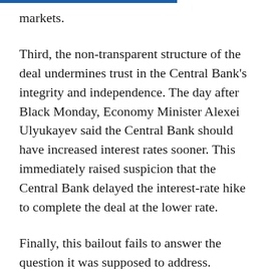markets.
Third, the non-transparent structure of the deal undermines trust in the Central Bank's integrity and independence. The day after Black Monday, Economy Minister Alexei Ulyukayev said the Central Bank should have increased interest rates sooner. This immediately raised suspicion that the Central Bank delayed the interest-rate hike to complete the deal at the lower rate.
Finally, this bailout fails to answer the question it was supposed to address. Investors do not know whether the Rosneft bailout is a one-off deal and, if it is not, which companies can hope to receive similar treatment from the Central Bank. The other element...